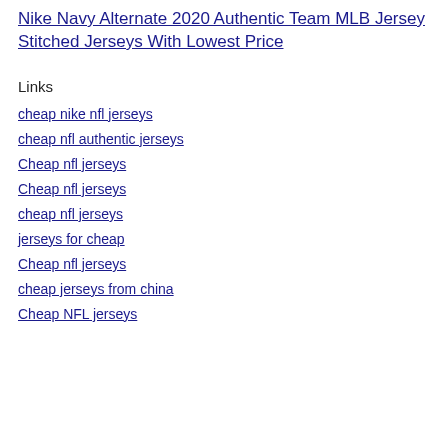Nike Navy Alternate 2020 Authentic Team MLB Jersey Stitched Jerseys With Lowest Price
Links
cheap nike nfl jerseys
cheap nfl authentic jerseys
Cheap nfl jerseys
Cheap nfl jerseys
cheap nfl jerseys
jerseys for cheap
Cheap nfl jerseys
cheap jerseys from china
Cheap NFL jerseys